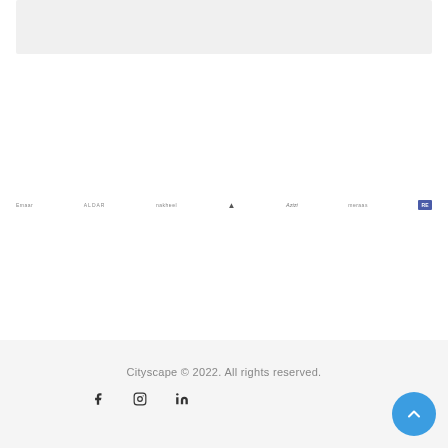[Figure (illustration): Light gray rectangular banner/image area at top of page]
[Figure (logo): Row of 7 small partner/sponsor logos displayed horizontally in grayscale]
Cityscape © 2022. All rights reserved.
[Figure (illustration): Social media icons: Facebook (f), Instagram (circle with camera), LinkedIn (in)]
[Figure (illustration): Blue circular scroll-to-top button with upward chevron arrow in bottom right corner]